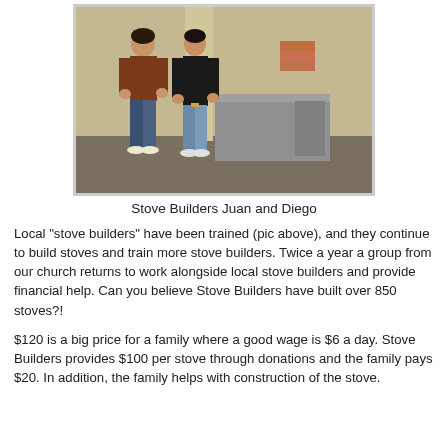[Figure (photo): Two men (Juan and Diego) standing in front of a concrete stove in an unfinished building interior. The man on the left wears a brown t-shirt and jeans; the man on the right wears a black long-sleeve shirt and jeans. A grey rectangular stove structure is visible to their right.]
Stove Builders Juan and Diego
Local "stove builders" have been trained (pic above), and they continue to build stoves and train more stove builders. Twice a year a group from our church returns to work alongside local stove builders and provide financial help. Can you believe Stove Builders have built over 850 stoves?!
$120 is a big price for a family where a good wage is $6 a day. Stove Builders provides $100 per stove through donations and the family pays $20. In addition, the family helps with construction of the stove.